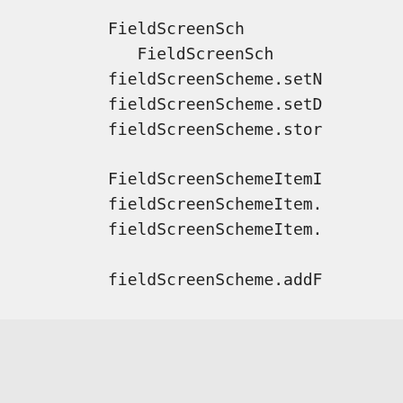FieldScreenSch
FieldScreenSch
fieldScreenScheme.setN
fieldScreenScheme.setD
fieldScreenScheme.stor

FieldScreenSchemeItemI
fieldScreenSchemeItem.
fieldScreenSchemeItem.

fieldScreenScheme.addF
Advertisements
[Figure (screenshot): DuckDuckGo advertisement banner: 'Search, browse, and email with more privacy. All in One Free App' with DuckDuckGo logo on dark right side.]